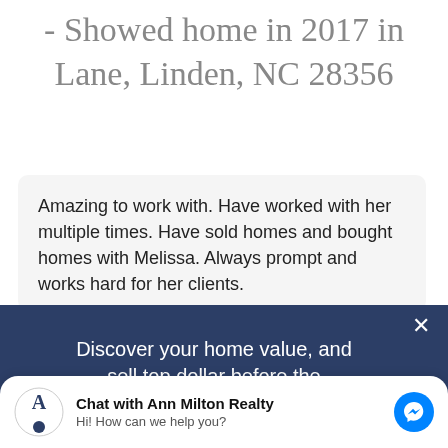- Showed home in 2017 in Lane, Linden, NC 28356
Amazing to work with. Have worked with her multiple times. Have sold homes and bought homes with Melissa. Always prompt and works hard for her clients.
Discover your home value, and sell top dollar before the market shifts!
Chat with Ann Milton Realty
Hi! How can we help you?